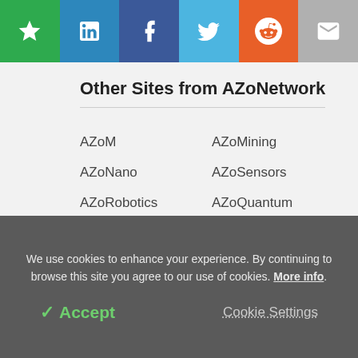[Figure (infographic): Social sharing bar with 6 buttons: bookmark (green), LinkedIn (blue), Facebook (dark blue), Twitter (light blue), Reddit (orange), Email (grey)]
Other Sites from AZoNetwork
AZoM
AZoMining
AZoNano
AZoSensors
AZoRobotics
AZoQuantum
AZoCleantech
News Medical
AZoOptics
AZoBuild
We use cookies to enhance your experience. By continuing to browse this site you agree to our use of cookies. More info.
✓ Accept   Cookie Settings